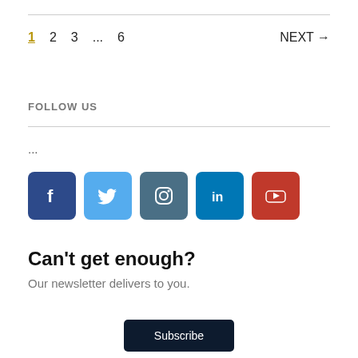1  2  3  ...  6    NEXT →
FOLLOW US
...
[Figure (infographic): Row of five social media icon buttons: Facebook (dark blue, f), Twitter (light blue, bird), Instagram (teal, camera), LinkedIn (blue, in), YouTube (red, play button)]
Can't get enough?
Our newsletter delivers to you.
Subscribe